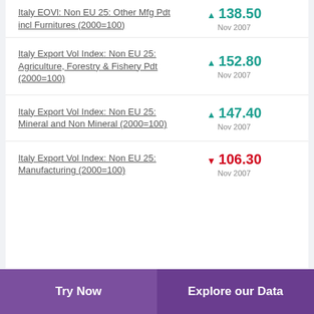Italy EOVl: Non EU 25: Other Mfg Pdt incl Furnitures (2000=100)
Italy Export Vol Index: Non EU 25: Agriculture, Forestry & Fishery Pdt (2000=100)
Italy Export Vol Index: Non EU 25: Mineral and Non Mineral (2000=100)
Italy Export Vol Index: Non EU 25: Manufacturing (2000=100)
Try Now  |  Explore our Data